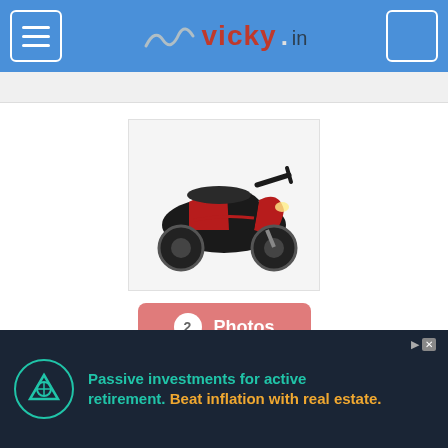vicky.in
[Figure (photo): Red and black TVS Scooty scooter facing front-left on white background]
2 Photos
TVS Scooty Posted On 8th Aug 2022
Chandwad, Nasik
Individual
000 Kms
87.80 CC
[Figure (infographic): Advertisement banner: Passive investments for active retirement. Beat inflation with real estate.]